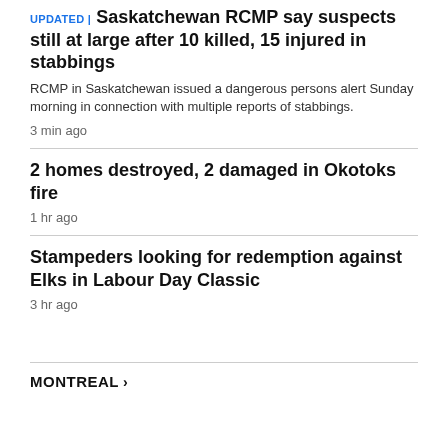UPDATED | Saskatchewan RCMP say suspects still at large after 10 killed, 15 injured in stabbings
RCMP in Saskatchewan issued a dangerous persons alert Sunday morning in connection with multiple reports of stabbings.
3 min ago
2 homes destroyed, 2 damaged in Okotoks fire
1 hr ago
Stampeders looking for redemption against Elks in Labour Day Classic
3 hr ago
MONTREAL >